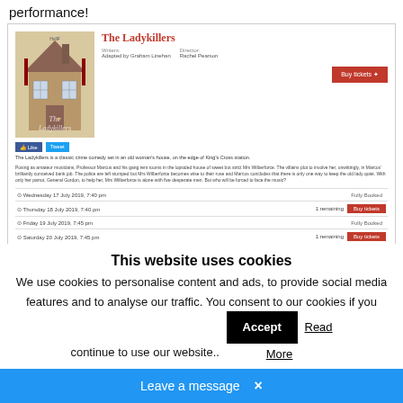performance!
[Figure (screenshot): Screenshot of a theatre booking website showing 'The Ladykillers' production. Includes poster image, show details (Writers: Adapted by Graham Linehan, Director: Rachel Pearson), Buy Tickets button, social share buttons, show description, and performance listing rows for Wednesday 17 July 2019 7:40pm (Fully Booked), Thursday 18 July 2019 7:40pm (1 remaining, Buy tickets), Friday 19 July 2019 7:45pm (Fully Booked), Saturday 20 July 2019 7:45pm (1 remaining, Buy tickets).]
This website uses cookies
We use cookies to personalise content and ads, to provide social media features and to analyse our traffic. You consent to our cookies if you continue to use our website..
Accept
Read More
Leave a message